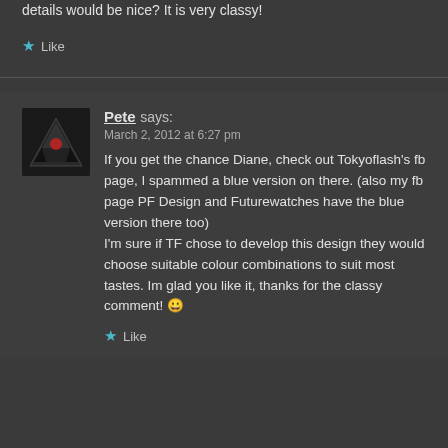details would be nice? It is very classy!
Like
Pete says:
March 2, 2012 at 6:27 pm
If you get the chance Diane, check out Tokyoflash's fb page, I spammed a blue version on there. (also my fb page PF Design and Futurewatches have the blue version there too)
I'm sure if TF chose to develop this design they would choose suitable colour combinations to suit most tastes. Im glad you like it, thanks for the classy comment! 😀
Like